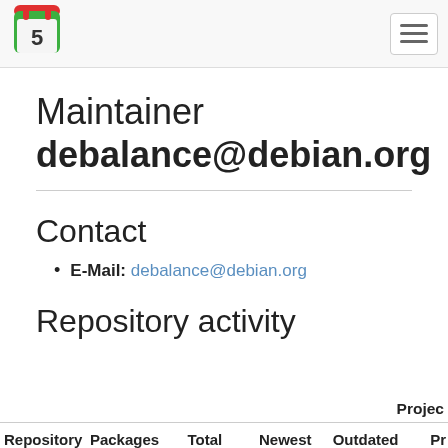[Figure (logo): Repology logo — green and red calendar-like icon with the number 5]
Maintainer debalance@debian.org
Contact
E-Mail: debalance@debian.org
Repository activity
| Repository | Packages | Total | Newest | Outdated | Pr... |
| --- | --- | --- | --- | --- | --- |